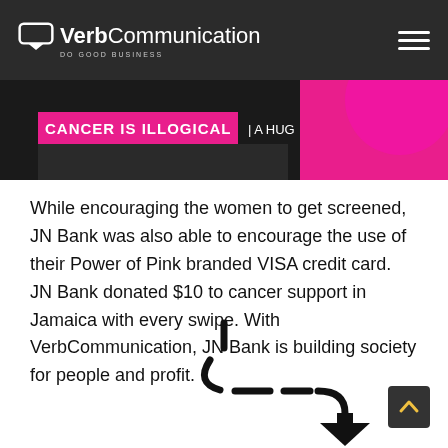VerbCommunication — DO GOOD BUSINESS
[Figure (photo): Banner image showing 'CANCER IS ILLOGICAL | A HUG' text on a dark background with pink graphic elements]
While encouraging the women to get screened, JN Bank was also able to encourage the use of their Power of Pink branded VISA credit card. JN Bank donated $10 to cancer support in Jamaica with every swipe. With VerbCommunication, JN Bank is building society for people and profit.
[Figure (illustration): Dashed curved arrow pointing downward]